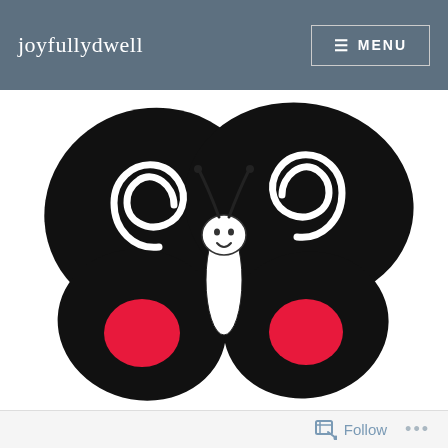joyfullydwell
[Figure (logo): Black and white butterfly illustration with red spots on lower wings and spiral patterns, smiling face on body]
Follow ...